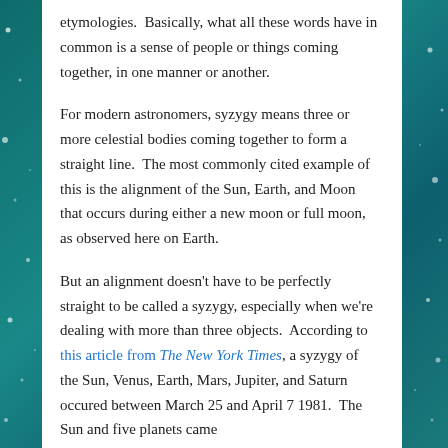etymologies.  Basically, what all these words have in common is a sense of people or things coming together, in one manner or another.
For modern astronomers, syzygy means three or more celestial bodies coming together to form a straight line.  The most commonly cited example of this is the alignment of the Sun, Earth, and Moon that occurs during either a new moon or full moon, as observed here on Earth.
But an alignment doesn't have to be perfectly straight to be called a syzygy, especially when we're dealing with more than three objects.  According to this article from The New York Times, a syzygy of the Sun, Venus, Earth, Mars, Jupiter, and Saturn occured between March 25 and April 7 1981.  The Sun and five planets came